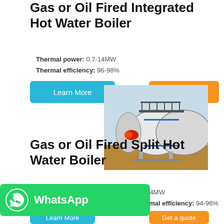Gas or Oil Fired Integrated Hot Water Boiler
Thermal power: 0.7-14MW
Thermal efficiency: 96-98%
Learn More
Get a quote
[Figure (photo): Gas or Oil Fired Integrated Hot Water Boiler industrial unit, white cylindrical vessel on a flatbed, outdoor setting]
Gas or Oil Fired Split Hot Water Boiler
[Figure (logo): WhatsApp contact button with green background]
Thermal power: 0.7-14MW
Thermal efficiency: 94-96%
Learn More
Get a quote